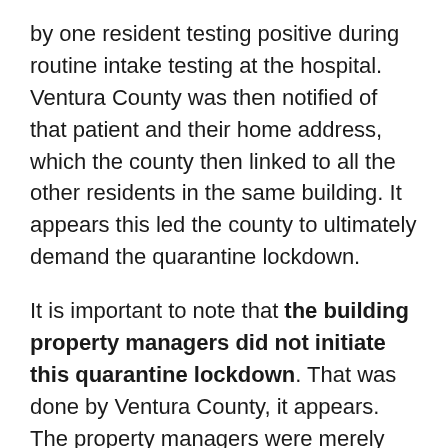by one resident testing positive during routine intake testing at the hospital. Ventura County was then notified of that patient and their home address, which the county then linked to all the other residents in the same building. It appears this led the county to ultimately demand the quarantine lockdown.
It is important to note that the building property managers did not initiate this quarantine lockdown. That was done by Ventura County, it appears. The property managers were merely alerting residents to what Ventura County had communicated . It seems likely the property managers could have done a better job of explaining this in their letter, however, possibly avoiding some of the backlash they are now experiencing.